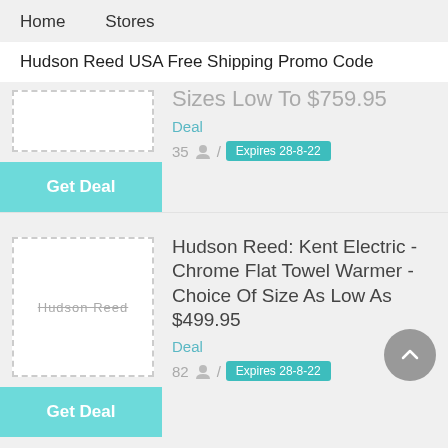Home   Stores
Hudson Reed USA Free Shipping Promo Code
Sizes Low To $759.95
Deal
35 / Expires 28-8-22
Get Deal
Hudson Reed: Kent Electric - Chrome Flat Towel Warmer - Choice Of Size As Low As $499.95
Deal
82 / Expires 28-8-22
Get Deal